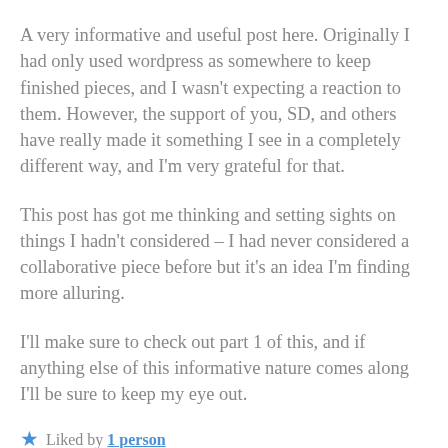A very informative and useful post here. Originally I had only used wordpress as somewhere to keep finished pieces, and I wasn't expecting a reaction to them. However, the support of you, SD, and others have really made it something I see in a completely different way, and I'm very grateful for that.
This post has got me thinking and setting sights on things I hadn't considered – I had never considered a collaborative piece before but it's an idea I'm finding more alluring.
I'll make sure to check out part 1 of this, and if anything else of this informative nature comes along I'll be sure to keep my eye out.
★ Liked by 1 person